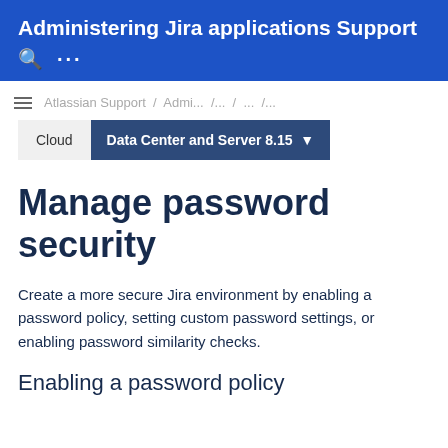Administering Jira applications Support
Atlassian Support / Admi... / ... / ... / ...
Cloud  Data Center and Server 8.15
Manage password security
Create a more secure Jira environment by enabling a password policy, setting custom password settings, or enabling password similarity checks.
Enabling a password policy